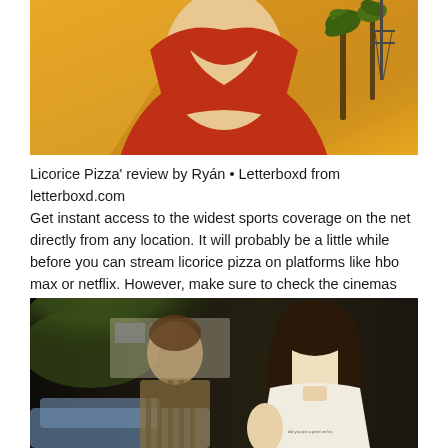[Figure (photo): Top portion of an illustrated or painted image showing a woman in a red swimsuit or dress with a yellow/warm background and palm trees visible on the right side]
Licorice Pizza' review by Ryán • Letterboxd from letterboxd.com Get instant access to the widest sports coverage on the net directly from any location. It will probably be a little while before you can stream licorice pizza on platforms like hbo max or netflix. However, make sure to check the cinemas near you to make sure it's screening licorice pizza.
[Figure (photo): A photograph of two young people; a young man with brown hair in a striped shirt is slightly blurred in the background on the left, and a young woman with long dark hair wearing a white fitted t-shirt is in focus in the foreground on the right, shot in a cinematic style]